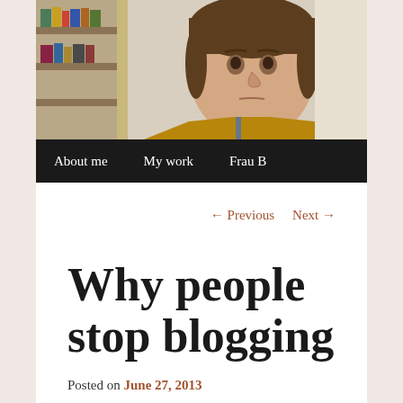[Figure (photo): A woman with short brown hair wearing a mustard/ochre cardigan, photographed from the shoulders up against a background with shelves containing books and items.]
About me   My work   Frau B
← Previous   Next →
Why people stop blogging
Posted on June 27, 2013